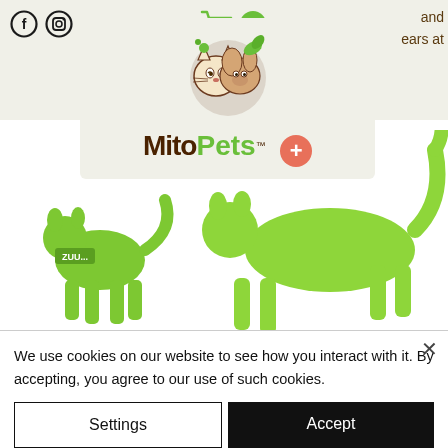[Figure (screenshot): MitoPets website screenshot showing social icons (Facebook, Instagram), shopping cart with 0 items, MitoPets logo with cat/dog illustration, green plus icon, partial text 'and years at' in top right, green dog silhouettes walking, article heading 'What do probiotics do for digestion?', subtitle 'The gut is filled with bacteria called "flora"', and a cookie consent banner at the bottom with Settings and Accept buttons.]